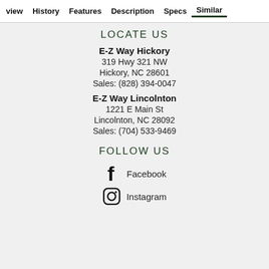view  History  Features  Description  Specs  Similar
LOCATE US
E-Z Way Hickory
319 Hwy 321 NW
Hickory, NC 28601
Sales: (828) 394-0047
E-Z Way Lincolnton
1221 E Main St
Lincolnton, NC 28092
Sales: (704) 533-9469
FOLLOW US
Facebook
Instagram